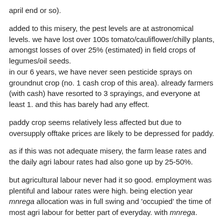april end or so).
added to this misery, the pest levels are at astronomical levels. we have lost over 100s tomato/cauliflower/chilly plants, amongst losses of over 25% (estimated) in field crops of legumes/oil seeds.
in our 6 years, we have never seen pesticide sprays on groundnut crop (no. 1 cash crop of this area). already farmers (with cash) have resorted to 3 sprayings, and everyone at least 1. and this has barely had any effect.
paddy crop seems relatively less affected but due to oversupply offtake prices are likely to be depressed for paddy.
as if this was not adequate misery, the farm lease rates and the daily agri labour rates had also gone up by 25-50%.
but agricultural labour never had it so good. employment was plentiful and labour rates were high. being election year mnrega allocation was in full swing and 'occupied' the time of most agri labour for better part of everyday. with mnrega.